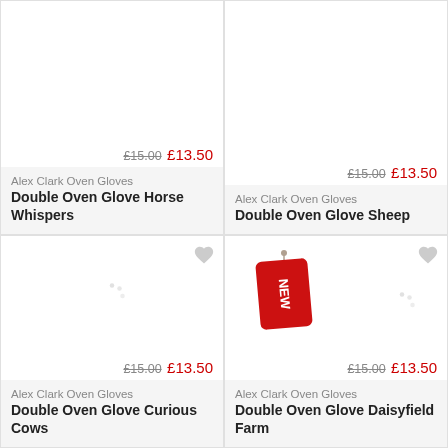[Figure (screenshot): Product card: Alex Clark Oven Gloves Double Oven Glove Horse Whispers, original price £15.00, sale price £13.50]
Alex Clark Oven Gloves
Double Oven Glove Horse Whispers
[Figure (screenshot): Product card: Alex Clark Oven Gloves Double Oven Glove Sheep, original price £15.00, sale price £13.50]
Alex Clark Oven Gloves
Double Oven Glove Sheep
[Figure (screenshot): Product card: Alex Clark Oven Gloves Double Oven Glove Curious Cows, original price £15.00, sale price £13.50, loading image]
Alex Clark Oven Gloves
Double Oven Glove Curious Cows
[Figure (screenshot): Product card: Alex Clark Oven Gloves Double Oven Glove Daisyfield Farm, original price £15.00, sale price £13.50, NEW tag]
Alex Clark Oven Gloves
Double Oven Glove Daisyfield Farm